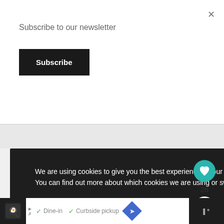Subscribe to our newsletter
Subscribe
We are using cookies to give you the best experience on our website.
You can find out more about which cookies we are using or switch them off in settings.
Accept
28
WHAT'S NEXT → Flourless Lentil Carrot...
✓ Dine-in  ✓ Curbside pickup